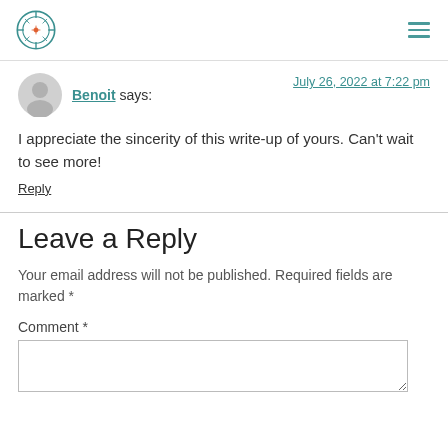[Logo] [Hamburger menu]
Benoit says:
July 26, 2022 at 7:22 pm
I appreciate the sincerity of this write-up of yours. Can't wait to see more!
Reply
Leave a Reply
Your email address will not be published. Required fields are marked *
Comment *